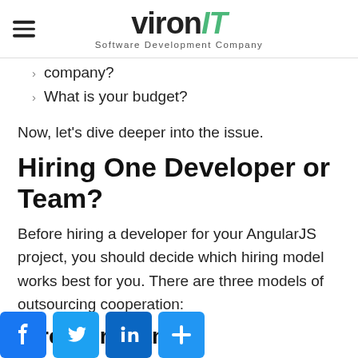vironIT Software Development Company
company?
What is your budget?
Now, let’s dive deeper into the issue.
Hiring One Developer or Team?
Before hiring a developer for your AngularJS project, you should decide which hiring model works best for you. There are three models of outsourcing cooperation:
Hire a Freelancer
Hiring Angular freelancers has advantages, such